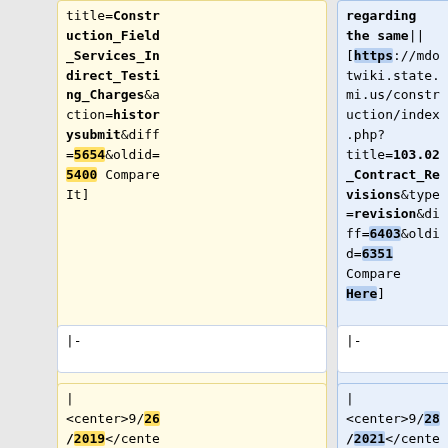title=Construction_Field_Services_Indirect_Testing_Charges&action=historysubmit&diff=5654&oldid=5400 Compare It]
regarding the same||[https://mdotwiki.state.mi.us/construction/index.php?title=103.02_Contract_Revisions&type=revision&diff=6403&oldid=6351 Compare Here]
|-
|-
| <center>9/26/2019</center>|| <center>1</c
| <center>9/28/2021</center>|| <center>1</c